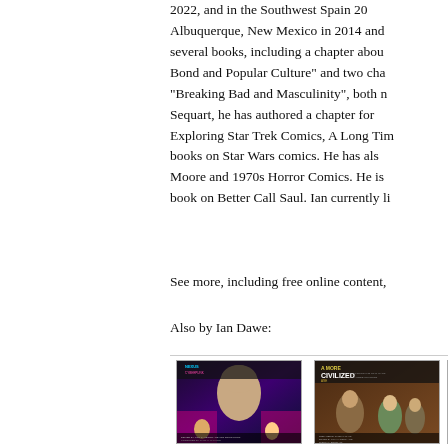2022, and in the Southwest Spain 20 Albuquerque, New Mexico in 2014 and several books, including a chapter about Bond and Popular Culture" and two cha "Breaking Bad and Masculinity", both no Sequart, he has authored a chapter for Exploring Star Trek Comics, A Long Tim books on Star Wars comics. He has als Moore and 1970s Horror Comics. He is book on Better Call Saul. Ian currently li
See more, including free online content,
Also by Ian Dawe:
[Figure (photo): Book cover of 'Cyberpunk Nexus' with a person's face and cyberpunk imagery, edited by Lou Tambone and Joe Bongiorno, produced by Paul H. Salmon]
contributor
[Figure (photo): Book cover of 'A More Civilized Age: Exploring the Star Wars Expanded Universe' prefaced by Timothy Zahn, edited by Rich Handley and Joseph F. Berenato]
contributor
[Figure (photo): Partial book cover, third in the row, partially cut off]